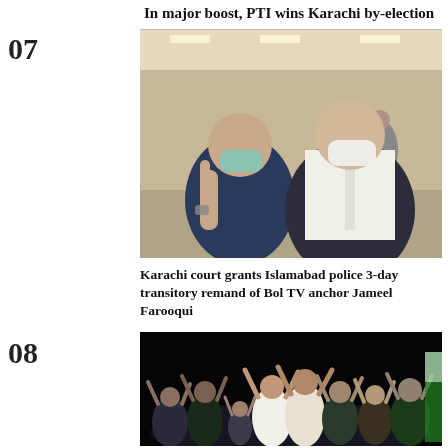In major boost, PTI wins Karachi by-election
[Figure (photo): Two men wearing face masks taking a selfie at what appears to be an airport terminal]
Karachi court grants Islamabad police 3-day transitory remand of Bol TV anchor Jameel Farooqui
[Figure (photo): Group of people at a nighttime rally with arms raised, Pakistani flags visible]